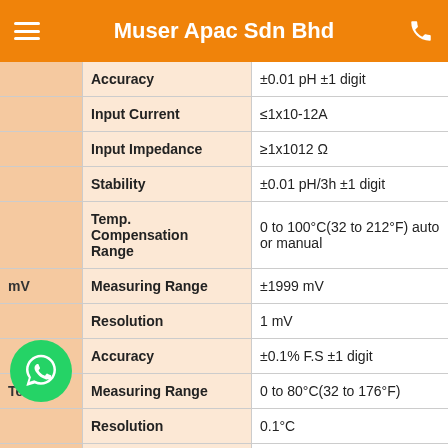Muser Apac Sdn Bhd
| Category | Parameter | Value |
| --- | --- | --- |
|  | Accuracy | ±0.01 pH ±1 digit |
|  | Input Current | ≤1x10-12A |
|  | Input Impedance | ≥1x1012 Ω |
|  | Stability | ±0.01 pH/3h ±1 digit |
|  | Temp. Compensation Range | 0 to 100°C(32 to 212°F) auto or manual |
| mV | Measuring Range | ±1999 mV |
|  | Resolution | 1 mV |
|  | Accuracy | ±0.1% F.S ±1 digit |
| Temp. | Measuring Range | 0 to 80°C(32 to 176°F) |
|  | Resolution | 0.1°C |
|  | Accuracy | ±0.5°C ±1 digit |
| Other | Data Storage | 500... |